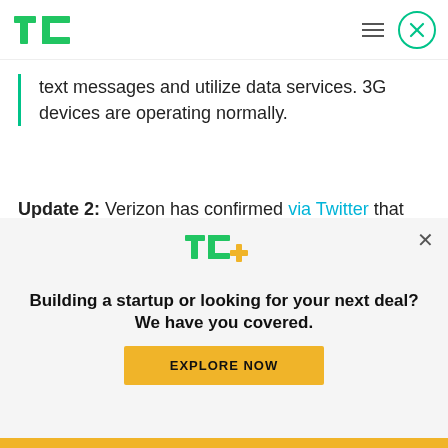TechCrunch
text messages and utilize data services. 3G devices are operating normally.
Update 2: Verizon has confirmed via Twitter that the outage was fixed overnight.
[Figure (screenshot): Twitter profile card for Verizon Wireless @VZWnews with Following button]
[Figure (logo): TC+ logo overlay with text: Building a startup or looking for your next deal? We have you covered. EXPLORE NOW button]